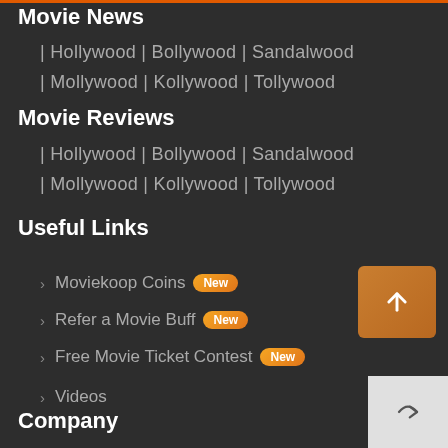Movie News
| Hollywood | Bollywood | Sandalwood
| Mollywood | Kollywood | Tollywood
Movie Reviews
| Hollywood | Bollywood | Sandalwood
| Mollywood | Kollywood | Tollywood
Useful Links
Moviekoop Coins New
Refer a Movie Buff New
Free Movie Ticket Contest New
Videos
Company